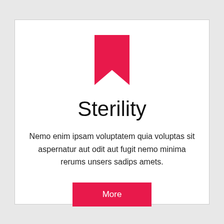[Figure (illustration): Pink/crimson bookmark ribbon icon — a rectangle with a downward V-notch cut from the bottom center]
Sterility
Nemo enim ipsam voluptatem quia voluptas sit aspernatur aut odit aut fugit nemo minima rerums unsers sadips amets.
More